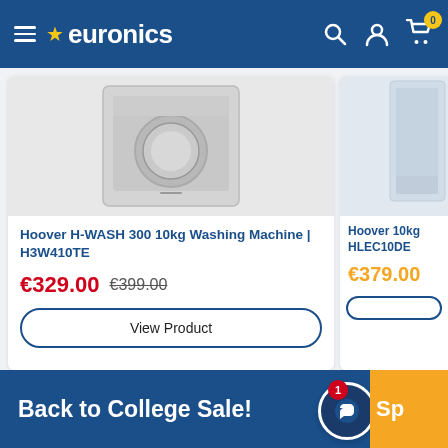euronics — navigation header with hamburger menu, logo, search, account, cart (0)
[Figure (screenshot): Product card for Hoover H-WASH 300 10kg Washing Machine | H3W410TE, showing product image, sale price €329.00 (was €399.00), and View Product button]
Hoover H-WASH 300 10kg Washing Machine | H3W410TE
€329.00 €399.00
View Product
[Figure (screenshot): Partial product card for Hoover 10kg HLEC10DE showing product image and price €379.00]
Hoover 10kg HLEC10DE
€379.00
Back to College Sale!
Sp